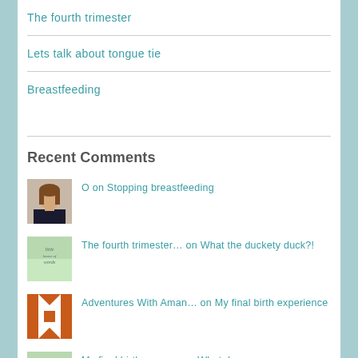The fourth trimester
Lets talk about tongue tie
Breastfeeding
Recent Comments
O on Stopping breastfeeding
The fourth trimester… on What the duckety duck?!
Adventures With Aman… on My final birth experience
My final birth exper… on What do you